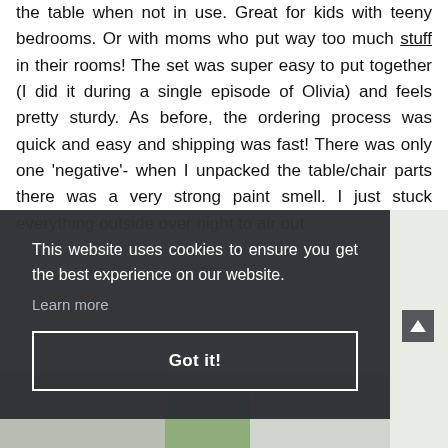the table when not in use. Great for kids with teeny bedrooms. Or with moms who put way too much stuff in their rooms! The set was super easy to put together (I did it during a single episode of Olivia) and feels pretty sturdy. As before, the ordering process was quick and easy and shipping was fast! There was only one 'negative'- when I unpacked the table/chair parts there was a very strong paint smell. I just stuck everything outside over night to air out.
This website uses cookies to ensure you get the best experience on our website. Learn more
Got it!
[Figure (photo): Partial view of a children's furniture item in a light green/white setting, visible at the bottom of the page.]